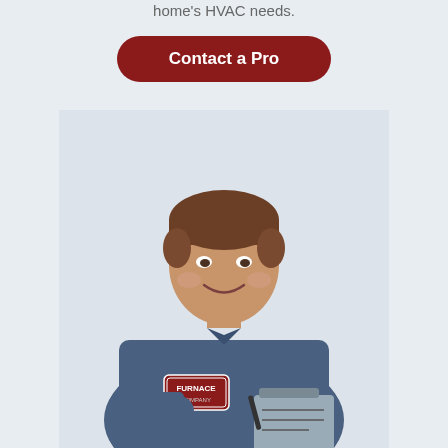home's HVAC needs.
Contact a Pro
[Figure (photo): A smiling middle-aged male HVAC technician in a blue work uniform with a 'Furnace Company' patch, holding a clipboard and pen, posed against a light gray-blue background.]